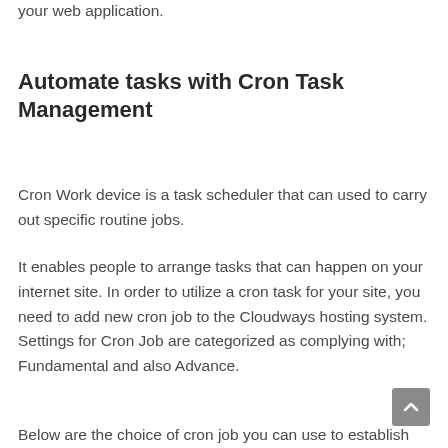your web application.
Automate tasks with Cron Task Management
Cron Work device is a task scheduler that can used to carry out specific routine jobs.
It enables people to arrange tasks that can happen on your internet site. In order to utilize a cron task for your site, you need to add new cron job to the Cloudways hosting system. Settings for Cron Job are categorized as complying with; Fundamental and also Advance.
Below are the choice of cron job you can use to establish